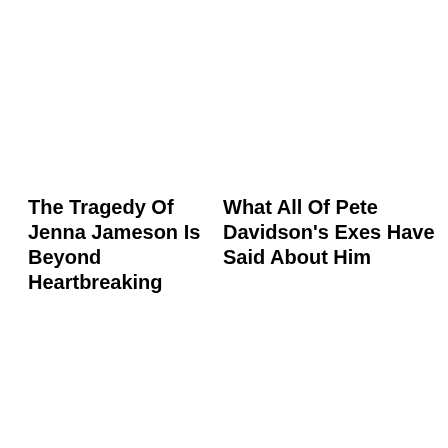The Tragedy Of Jenna Jameson Is Beyond Heartbreaking
What All Of Pete Davidson's Exes Have Said About Him